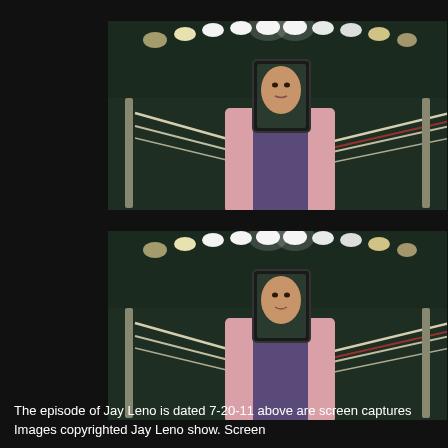[Figure (photo): Screen capture from Jay Leno show episode dated 7-20-11. A woman in a pink blazer stands in front of a boxing ring, holding a dark rectangular frame (tablet/phone) in front of her face. Stadium lights visible in the background.]
[Figure (photo): Duplicate screen capture from Jay Leno show episode dated 7-20-11. Same woman in pink blazer in front of a boxing ring, holding a dark rectangular frame in front of her face. Slightly different expression visible.]
The episode of Jay Leno is dated 7-20-11 above are screen captures Images copyrighted Jay Leno show. Screen